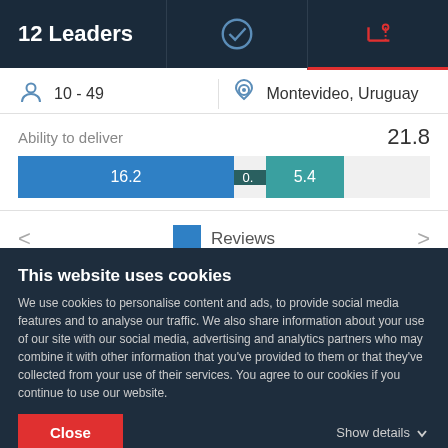12 Leaders
10 - 49
Montevideo, Uruguay
Ability to deliver   21.8
[Figure (stacked-bar-chart): Ability to deliver bar]
Reviews
This website uses cookies
We use cookies to personalise content and ads, to provide social media features and to analyse our traffic. We also share information about your use of our site with our social media, advertising and analytics partners who may combine it with other information that you've provided to them or that they've collected from your use of their services. You agree to our cookies if you continue to use our website.
Close
Show details